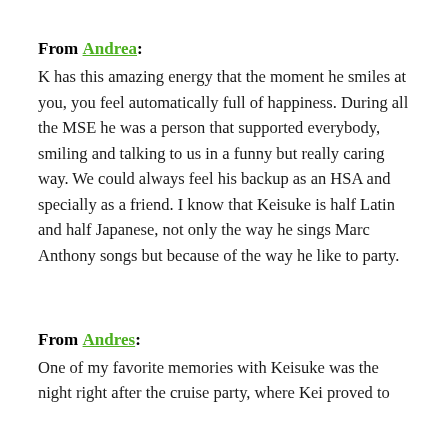From Andrea: K has this amazing energy that the moment he smiles at you, you feel automatically full of happiness. During all the MSE he was a person that supported everybody, smiling and talking to us in a funny but really caring way. We could always feel his backup as an HSA and specially as a friend. I know that Keisuke is half Latin and half Japanese, not only the way he sings Marc Anthony songs but because of the way he like to party.
From Andres: One of my favorite memories with Keisuke was the night right after the cruise party, where Kei proved to be...